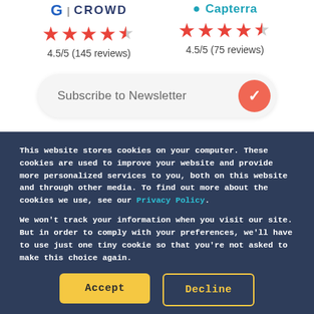[Figure (logo): G2 Crowd logo with red stars rating: 4.5/5 (145 reviews)]
[Figure (logo): Capterra logo with red stars rating: 4.5/5 (75 reviews)]
[Figure (other): Subscribe to Newsletter input box with coral/red circular checkmark button]
This website stores cookies on your computer. These cookies are used to improve your website and provide more personalized services to you, both on this website and through other media. To find out more about the cookies we use, see our Privacy Policy.
We won't track your information when you visit our site. But in order to comply with your preferences, we'll have to use just one tiny cookie so that you're not asked to make this choice again.
Accept
Decline